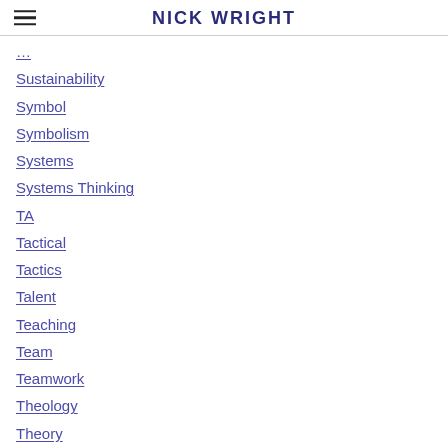NICK WRIGHT
Sustainability
Symbol
Symbolism
Systems
Systems Thinking
TA
Tactical
Tactics
Talent
Teaching
Team
Teamwork
Theology
Theory